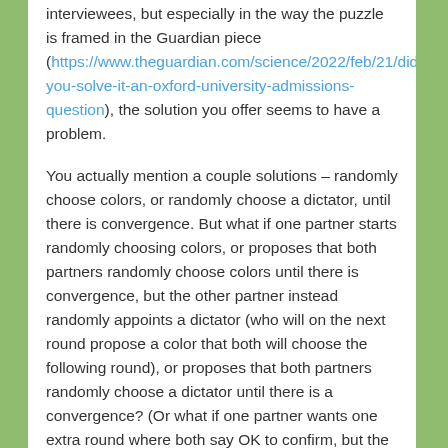interviewees, but especially in the way the puzzle is framed in the Guardian piece (https://www.theguardian.com/science/2022/feb/21/did-you-solve-it-an-oxford-university-admissions-question), the solution you offer seems to have a problem.
You actually mention a couple solutions – randomly choose colors, or randomly choose a dictator, until there is convergence. But what if one partner starts randomly choosing colors, or proposes that both partners randomly choose colors until there is convergence, but the other partner instead randomly appoints a dictator (who will on the next round propose a color that both will choose the following round), or proposes that both partners randomly choose a dictator until there is a convergence? (Or what if one partner wants one extra round where both say OK to confirm, but the other partner doesn't want an extra round to confirm, or wants two rounds to confirm just to be doubly sure?)